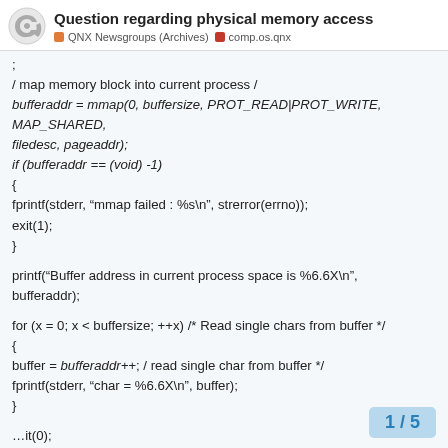Question regarding physical memory access | QNX Newsgroups (Archives) | comp.os.qnx
/ map memory block into current process /
bufferaddr = mmap(0, buffersize, PROT_READ|PROT_WRITE, MAP_SHARED,
filedesc, pageaddr);
if (bufferaddr == (void) -1)
{
fprintf(stderr, "mmap failed : %s\n", strerror(errno));
exit(1);
}

printf("Buffer address in current process space is %6.6X\n", bufferaddr);

for (x = 0; x < buffersize; ++x) /* Read single chars from buffer */
{
buffer = bufferaddr++; / read single char from buffer */
fprintf(stderr, "char = %6.6X\n", buffer);
}

...it(0);